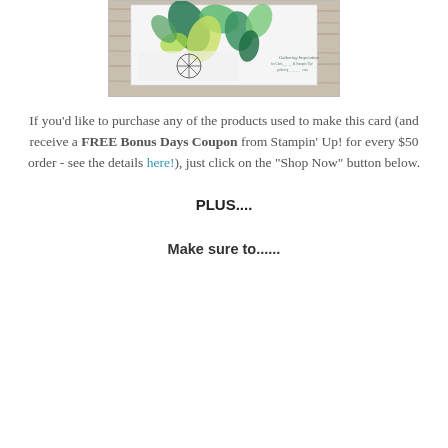[Figure (photo): Photo of a handmade greeting card with green and teal botanical leaf/petal designs on white card stock, placed on a wooden surface. Watermark text reads 'Gathering Inspiration' with additional small text below.]
If you'd like to purchase any of the products used to make this card (and receive a FREE Bonus Days Coupon from Stampin' Up! for every $50 order - see the details here!), just click on the "Shop Now" button below.
PLUS....
Make sure to......